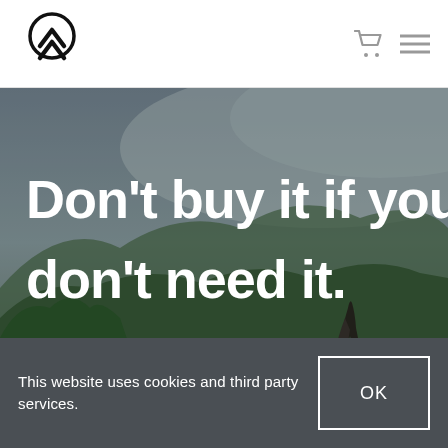[Figure (logo): Circular arrow/chevron logo mark in black - double chevron inside a circle outline]
[Figure (photo): Outdoor nature hero image: person standing on rocky cliff overlooking a lush green forested mountain valley with misty background. Overlaid with large bold white text reading 'Don't buy it if you don't need it.']
This website uses cookies and third party services.